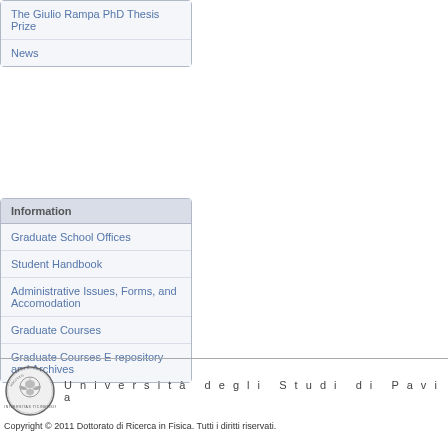The Giulio Rampa PhD Thesis Prize
News
Information
Graduate School Offices
Student Handbook
Administrative Issues, Forms, and Accomodation
Graduate Courses
Graduate Courses E-repository and Archives
Università degli Studi di Pavia
Copyright © 2011 Dottorato di Ricerca in Fisica. Tutti i diritti riservati.